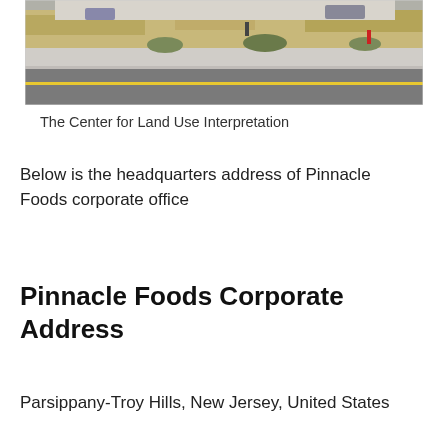[Figure (photo): Exterior photo of a commercial building with a parking lot and road in the foreground, dry grass visible, winter scene.]
The Center for Land Use Interpretation
Below is the headquarters address of Pinnacle Foods corporate office
Pinnacle Foods Corporate Address
Parsippany-Troy Hills, New Jersey, United States